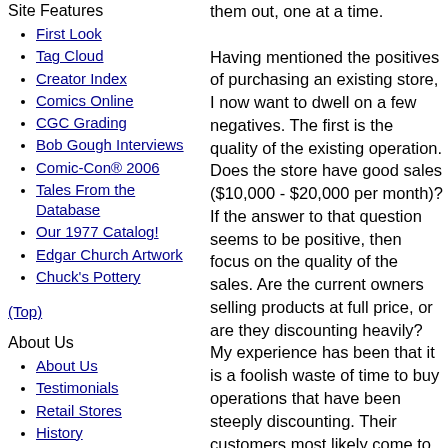Site Features
First Look
Tag Cloud
Creator Index
Comics Online
CGC Grading
Bob Gough Interviews
Comic-Con® 2006
Tales From the Database
Our 1977 Catalog!
Edgar Church Artwork
Chuck's Pottery
(Top)
About Us
About Us
Testimonials
Retail Stores
History
Site Awards
them out, one at a time. Having mentioned the positives of purchasing an existing store, I now want to dwell on a few negatives. The first is the quality of the existing operation. Does the store have good sales ($10,000 - $20,000 per month)? If the answer to that question seems to be positive, then focus on the quality of the sales. Are the current owners selling products at full price, or are they discounting heavily? My experience has been that it is a foolish waste of time to buy operations that have been steeply discounting. Their customers most likely come to them primarily because of those "sweetheart" deals, and will not take kindly to having